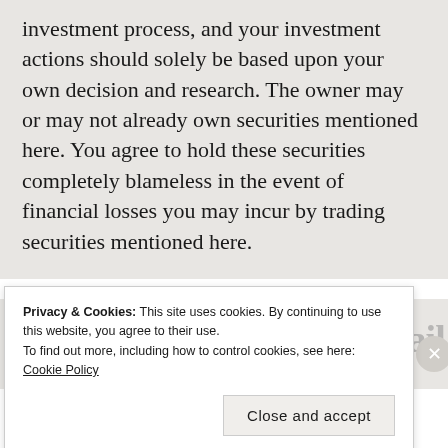investment process, and your investment actions should solely be based upon your own decision and research. The owner may or may not already own securities mentioned here. You agree to hold these securities completely blameless in the event of financial losses you may incur by trading securities mentioned here.
Subscribe to Blog via Email
Privacy & Cookies: This site uses cookies. By continuing to use this website, you agree to their use.
To find out more, including how to control cookies, see here: Cookie Policy